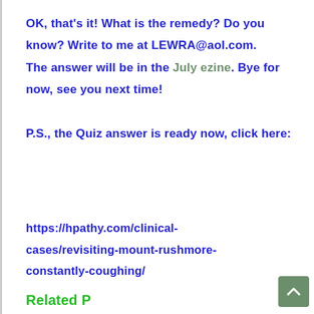OK, that's it! What is the remedy? Do you know? Write to me at LEWRA@aol.com. The answer will be in the July ezine. Bye for now, see you next time!

P.S., the Quiz answer is ready now, click here:
https://hpathy.com/clinical-cases/revisiting-mount-rushmore-constantly-coughing/
Related P...